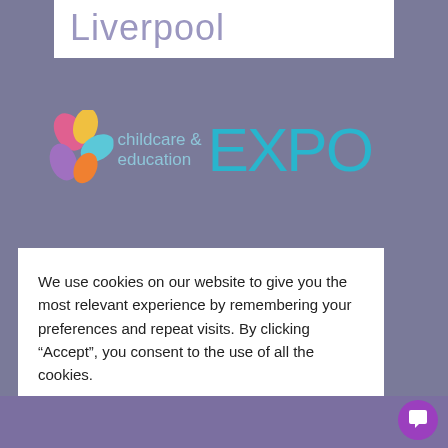[Figure (logo): Liverpool text logo on white background, light purple color]
[Figure (logo): Childcare & Education EXPO logo with colorful flower graphic and teal/cyan text]
[Figure (logo): The 12th annual Festival of Education at Wellington College 7-8 July 2022, with Headline partner Pearson logo]
We use cookies on our website to give you the most relevant experience by remembering your preferences and repeat visits. By clicking “Accept”, you consent to the use of all the cookies.
Cookie settings
ACCEPT